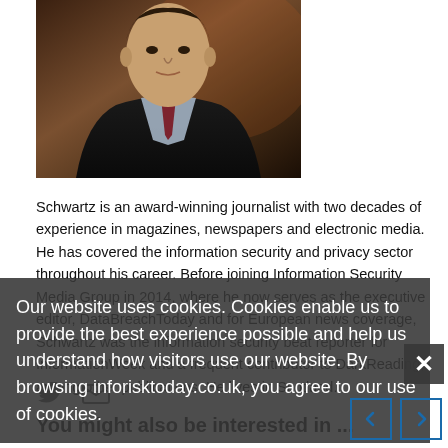[Figure (photo): Headshot photo of a man in a dark suit with a red tie, partial face visible, dark background]
Schwartz is an award-winning journalist with two decades of experience in magazines, newspapers and electronic media. He has covered the information security and privacy sector throughout his career. Before joining Information Security Media Group in 2014, where he now serves as the executive editor, DataBreachToday and for European news coverage, Schwartz was the information security beat reporter for InformationWeek and a frequent contributor to DarkReading, among other publications. He lives in Scotland.
[Figure (screenshot): Cookie consent overlay popup with semi-transparent dark background, containing text: 'Our website uses cookies. Cookies enable us to provide the best experience possible and help us understand how visitors use our website. By browsing inforisktoday.co.uk, you agree to our use of cookies.' with a close X button on the right]
You might also be interested in ...